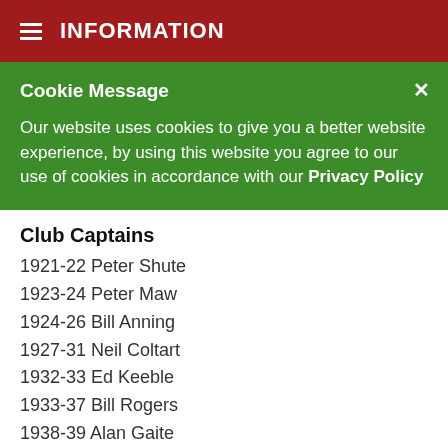INFORMATION
Cookie Message
Our website uses cookies to give you a better website experience, by using this website you agree to our use of cookies in accordance with our Privacy Policy
Club Captains
1921-22 Peter Shute
1923-24 Peter Maw
1924-26 Bill Anning
1927-31 Neil Coltart
1932-33 Ed Keeble
1933-37 Bill Rogers
1938-39 Alan Gaite
1939-40 Rev John Evans
1940-45 No Election
1946-47 Jim Bissett